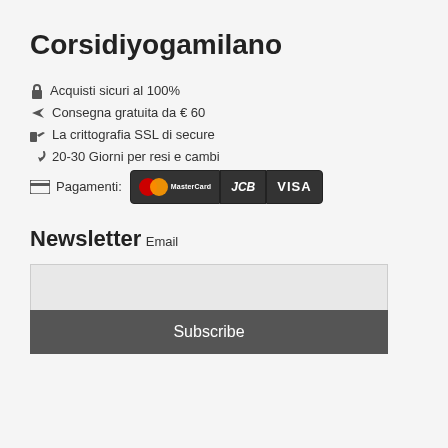Corsidiyogamilano
Acquisti sicuri al 100%
Consegna gratuita da € 60
La crittografia SSL di secure
20-30 Giorni per resi e cambi
Pagamenti: [MasterCard] [JCB] [VISA]
Newsletter
Email
Subscribe